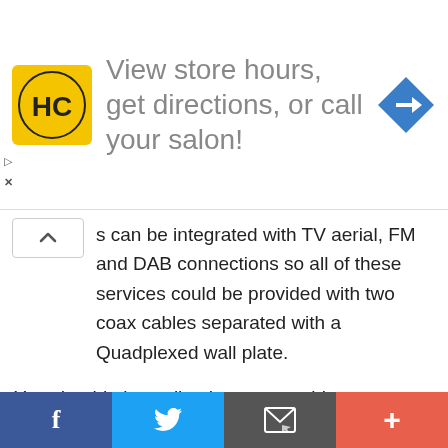[Figure (screenshot): Advertisement banner with HC logo (yellow background with black HC letters in circle), text 'View store hours, get directions, or call your salon!' in grey, and a blue diamond-shaped navigation arrow icon on the right.]
s can be integrated with TV aerial, FM and DAB connections so all of these services could be provided with two coax cables separated with a Quadplexed wall plate.
You should also pull at least one cable to your aerial position, if you intend to connect radio aerials also you could pull extra cables or these can be combined together as TV/ FM/ DAB each uses different frequencies. You should pull at least four coax cables to your satellite dish position. As a satellite dish points south, dishes are most commonly this is installed on a
[Figure (screenshot): Bottom toolbar with four buttons: Facebook (blue), Twitter (light blue), Email/envelope (dark grey), and Plus/share (orange-red).]